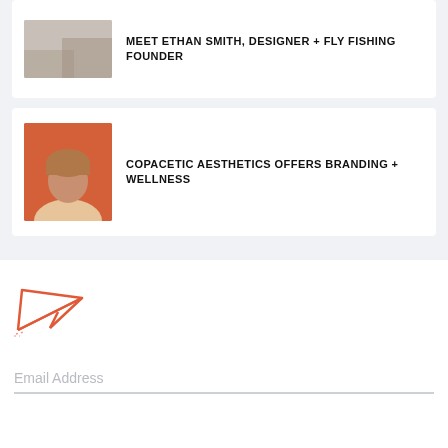[Figure (photo): Thumbnail photo placeholder (landscape), muted beige/grey tones]
MEET ETHAN SMITH, DESIGNER + FLY FISHING FOUNDER
[Figure (photo): Portrait photo of a person with short hair against an orange/red background]
COPACETIC AESTHETICS OFFERS BRANDING + WELLNESS
[Figure (illustration): Paper plane / send icon in coral/orange outline style]
Email Address